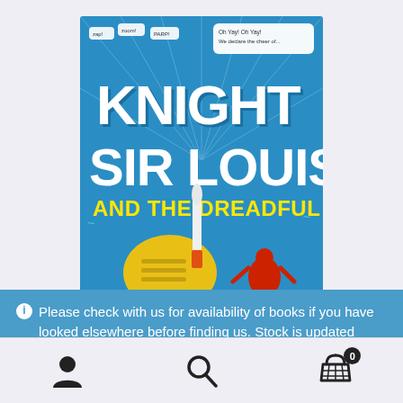[Figure (illustration): Book cover of 'Knight Sir Louis and the Dreadful Damsel' featuring cartoon characters on a blue background with large white text title]
Please check with us for availability of books if you have looked elsewhere before finding us. Stock is updated manually, and some items may have been missed!
Dismiss
[Figure (other): Bottom navigation bar with user account icon, search icon, and shopping cart icon with badge showing 0]